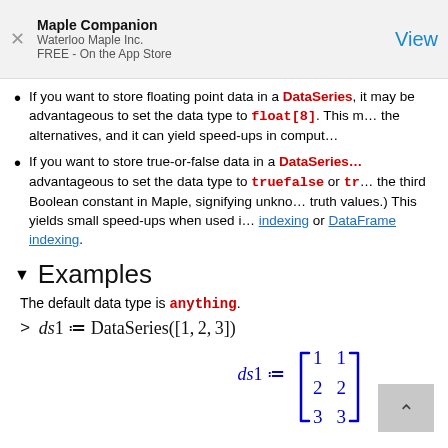Maple Companion
Waterloo Maple Inc.
FREE - On the App Store
View
If you want to store floating point data in a DataSeries, it may be advantageous to set the data type to float[8]. This may be the best of the alternatives, and it can yield speed-ups in computations.
If you want to store true-or-false data in a DataSeries, it may be advantageous to set the data type to truefalse or truefalse3 (FAIL is the third Boolean constant in Maple, signifying unknown truth values.) This yields small speed-ups when used in DataSeries indexing or DataFrame indexing.
Examples
The default data type is anything.